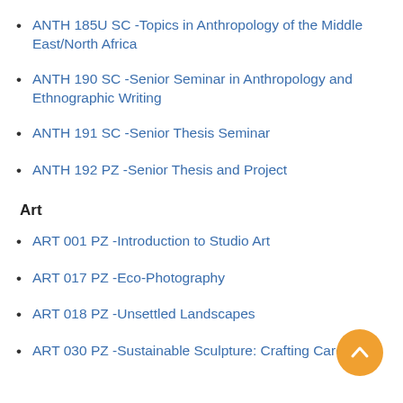ANTH 185U SC -Topics in Anthropology of the Middle East/North Africa
ANTH 190 SC -Senior Seminar in Anthropology and Ethnographic Writing
ANTH 191 SC -Senior Thesis Seminar
ANTH 192 PZ -Senior Thesis and Project
Art
ART 001 PZ -Introduction to Studio Art
ART 017 PZ -Eco-Photography
ART 018 PZ -Unsettled Landscapes
ART 030 PZ -Sustainable Sculpture: Crafting Care,